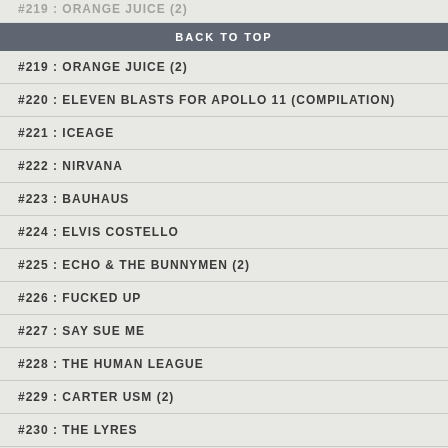#219 : ORANGE JUICE (2)
BACK TO TOP
#219 : ORANGE JUICE (2)
#220 : ELEVEN BLASTS FOR APOLLO 11 (compilation)
#221 : ICEAGE
#222 : NIRVANA
#223 : BAUHAUS
#224 : ELVIS COSTELLO
#225 : ECHO & THE BUNNYMEN (2)
#226 : FUCKED UP
#227 : SAY SUE ME
#228 : THE HUMAN LEAGUE
#229 : CARTER USM (2)
#230 : THE LYRES
#231 : FAD GADGET